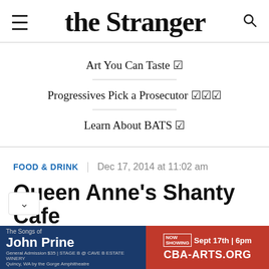the Stranger
Art You Can Taste 🗵
Progressives Pick a Prosecutor 🗵🗵🗵
Learn About BATS 🗵
FOOD & DRINK | Dec 17, 2014 at 11:02 am
Queen Anne's Shanty Cafe Contains 100 Years of
[Figure (other): Advertisement banner for 'The Songs of John Prine' event. Blue left section: 'The Songs of John Prine, Now Showing Sept 17th | 6pm, General Admission $35 | STAGE B @ CAVE B ESTATE WINERY, Quincy, WA by the Gorge Amphitheatre'. Red right section: 'CBA-ARTS.ORG']